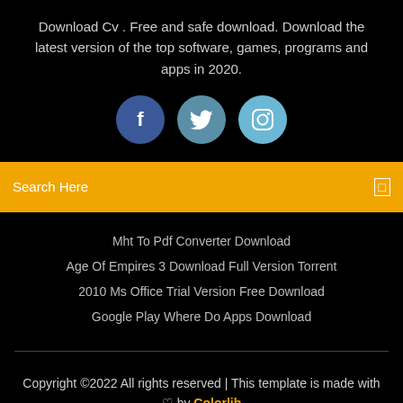Download Cv . Free and safe download. Download the latest version of the top software, games, programs and apps in 2020.
[Figure (illustration): Three social media icon circles: Facebook (dark blue), Twitter (medium blue), Instagram (light blue), each with white icon symbols]
Search Here
Mht To Pdf Converter Download
Age Of Empires 3 Download Full Version Torrent
2010 Ms Office Trial Version Free Download
Google Play Where Do Apps Download
Copyright ©2022 All rights reserved | This template is made with ♡ by Colorlib